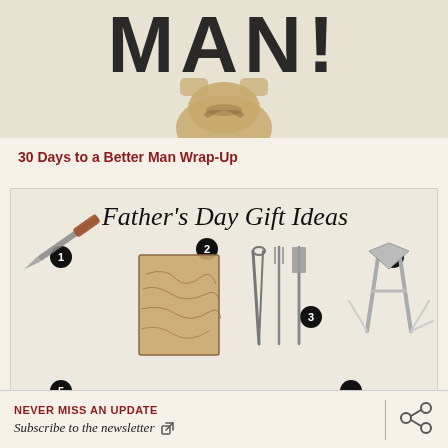[Figure (illustration): Vintage-style illustration of a man figure with large bold text 'MAN!' at the top, distressed typography on a textured beige/cream background]
30 Days to a Better Man Wrap-Up
[Figure (infographic): Father's Day Gift Ideas infographic showing 4 numbered items: 1-a knife, 2-a topographic map, 3-BBQ grilling tools (tongs, fork, spatula), 4-a multi-tool. Items numbered with black circular badges.]
NEVER MISS AN UPDATE
Subscribe to the newsletter